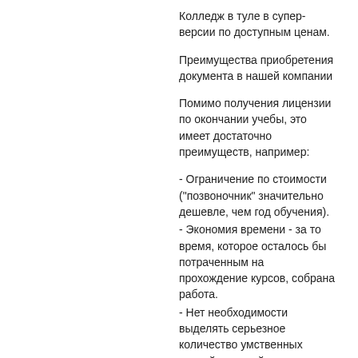Колледж в туле в супер-версии по доступным ценам.
Преимущества приобретения документа в нашей компании
Помимо получения лицензии по окончании учебы, это имеет достаточно преимуществ, например:
- Ограничение по стоимости ("позвоночник" значительно дешевле, чем год обучения).
- Экономия времени - за то время, которое осталось бы потраченным на прохождение курсов, собрана работа.
- Нет необходимости выделять серьезное количество умственных усилий и усилий на усвоение того или иного материала..
Чтобы получить сертификат колледжа в туле - это необычный способ устроить свое собственное будущее. Всего за пару кликов у